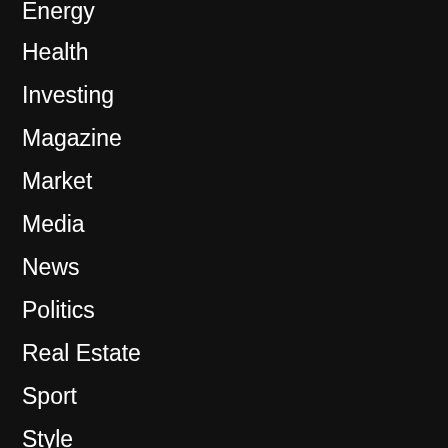Energy
Health
Investing
Magazine
Market
Media
News
Politics
Real Estate
Sport
Style
Technology
Travel
Wealth
World